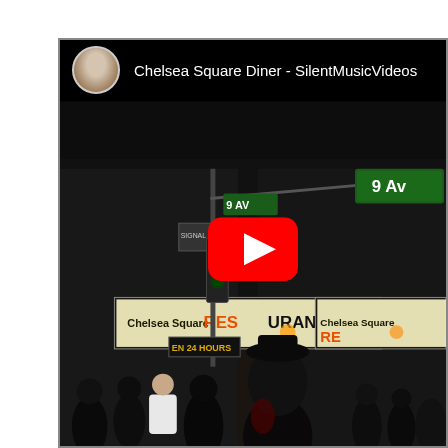[Figure (screenshot): YouTube video thumbnail/player showing 'Chelsea Square Diner - SilentMusicVideos' with a channel avatar of an older man, and a nighttime street scene at 9th Avenue intersection with Chelsea Square Restaurant marquee signs visible and a crowd of people on the street. A large YouTube play button is centered on the image.]